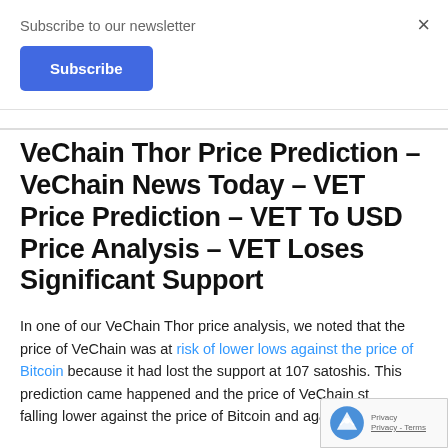Subscribe to our newsletter
Subscribe
VeChain Thor Price Prediction – VeChain News Today – VET Price Prediction – VET To USD Price Analysis – VET Loses Significant Support
In one of our VeChain Thor price analysis, we noted that the price of VeChain was at risk of lower lows against the price of Bitcoin because it had lost the support at 107 satoshis. This prediction came happened and the price of VeChain started falling lower against the price of Bitcoin and against the of the USD. At the time of writing, VET was trading at...